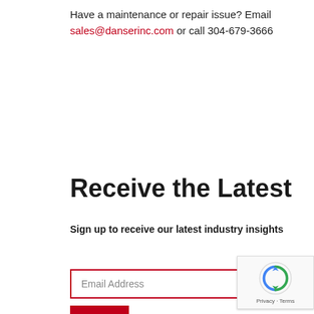Have a maintenance or repair issue? Email sales@danserinc.com or call 304-679-3666
Receive the Latest
Sign up to receive our latest industry insights
Email Address